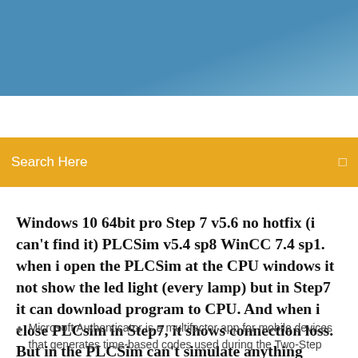[Figure (screenshot): Blue gradient header banner at the top of a webpage]
[Figure (screenshot): Orange/amber search bar with 'Search Here' placeholder text and a search icon on the right]
Windows 10 64bit pro Step 7 v5.6 no hotfix (i can't find it) PLCSim v5.4 sp8 WinCC 7.4 sp1. when i open the PLCSim at the CPU windows it not show the led light (every lamp) but in Step7 it can download program to CPU. And when i close PLCsim in Step7, it shows connection loss. But in the PLCSim can't simulate anything
Microsoft Authenticator is a multifactor app for mobile devices that generates time-based codes used during the Two-Step